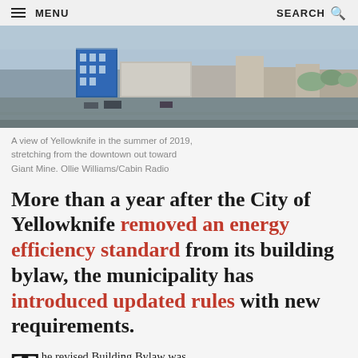MENU | SEARCH
[Figure (photo): Aerial view of Yellowknife in the summer of 2019, showing downtown buildings and streets stretching toward Giant Mine]
A view of Yellowknife in the summer of 2019, stretching from the downtown out toward Giant Mine. Ollie Williams/Cabin Radio
More than a year after the City of Yellowknife removed an energy efficiency standard from its building bylaw, the municipality has introduced updated rules with new requirements.
The revised Building Bylaw was